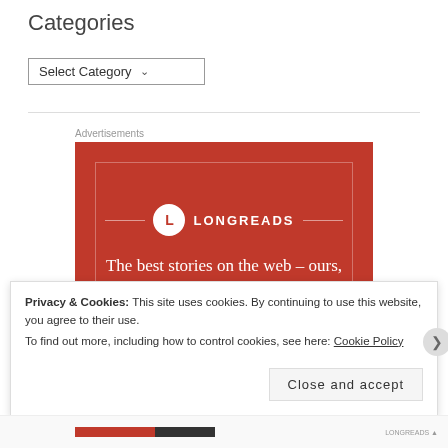Categories
Select Category ▾
[Figure (other): Longreads advertisement banner with red background. Shows Longreads logo with circle L icon, decorative lines, and tagline: The best stories on the web – ours, and everyone else's.]
Privacy & Cookies: This site uses cookies. By continuing to use this website, you agree to their use.
To find out more, including how to control cookies, see here: Cookie Policy
Close and accept